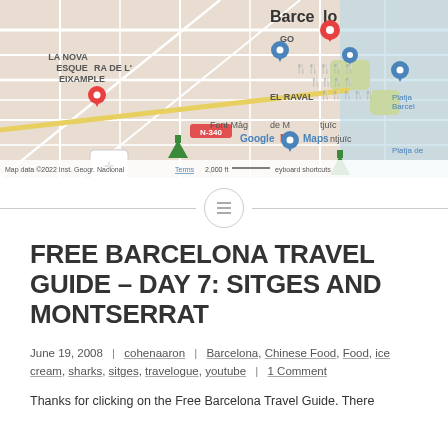[Figure (map): Google My Maps screenshot showing Barcelona area with location pins (red, blue, green) and restaurant/fork-and-knife icons clustered near El Raval, Montjuïc, and surrounding neighborhoods. Shows LA NOVA ESQUERRA DE L'EIXAMPLE, EL RAVAL, Font Màgica de Montjuïc, Platja Barcelona, Platja de... labels. Map data ©2022 Inst. Geogr. Nacional. Scale bar shows 2,000 ft. Plus/minus zoom controls visible.]
FREE BARCELONA TRAVEL GUIDE – DAY 7: SITGES AND MONTSERRAT
June 19, 2008  |  cohenaaron  |  Barcelona, Chinese Food, Food, ice cream, sharks, sitges, travelogue, youtube  |  1 Comment
Thanks for clicking on the Free Barcelona Travel Guide. There